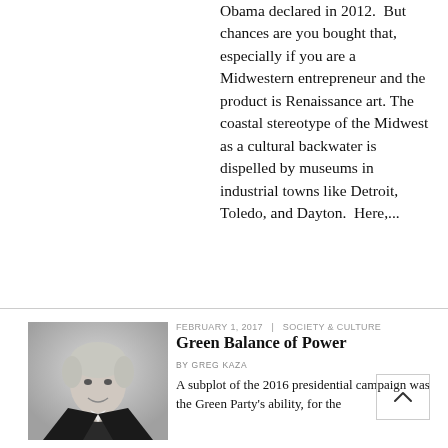Obama declared in 2012. But chances are you bought that, especially if you are a Midwestern entrepreneur and the product is Renaissance art. The coastal stereotype of the Midwest as a cultural backwater is dispelled by museums in industrial towns like Detroit, Toledo, and Dayton. Here,...
[Figure (photo): Black and white photo of a smiling woman with short light hair wearing a dark blazer with a pin/brooch, pictured from the shoulders up]
FEBRUARY 1, 2017 | SOCIETY & CULTURE
Green Balance of Power
BY GREG KAZA
A subplot of the 2016 presidential campaign was the Green Party's ability, for the